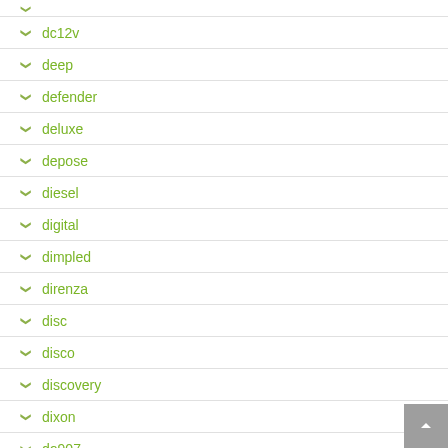dc12v
deep
defender
deluxe
depose
diesel
digital
dimpled
direnza
disc
disco
discovery
dixon
do907